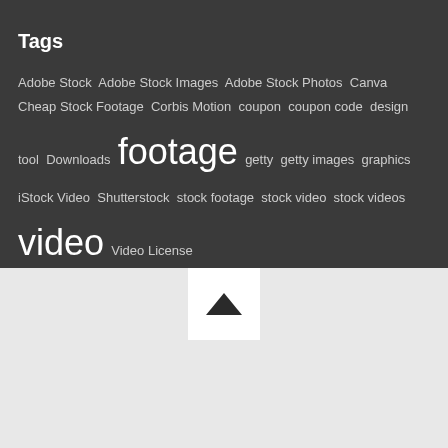Tags
Adobe Stock  Adobe Stock Images  Adobe Stock Photos  Canva  Cheap Stock Footage  Corbis Motion  coupon  coupon code  design tool  Downloads  footage  getty  getty images  graphics  iStock Video  Shutterstock  stock footage  stock video  stock videos  video  Video License
[Figure (other): Up arrow chevron button on light grey background]